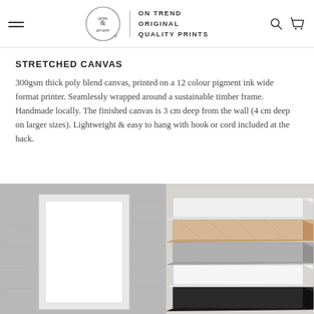print & proper | ON TREND ORIGINAL QUALITY PRINTS
STRETCHED CANVAS
300gsm thick poly blend canvas, printed on a 12 colour pigment ink wide format printer. Seamlessly wrapped around a sustainable timber frame. Handmade locally. The finished canvas is 3 cm deep from the wall (4 cm deep on larger sizes). Lightweight & easy to hang with hook or cord included at the back.
[Figure (photo): Close-up photo of a white framed canvas print leaning against a grey textured wall]
[Figure (photo): Stacked layered frames in white, natural wood/birch, grey, white, and black showing frame depth and material options]